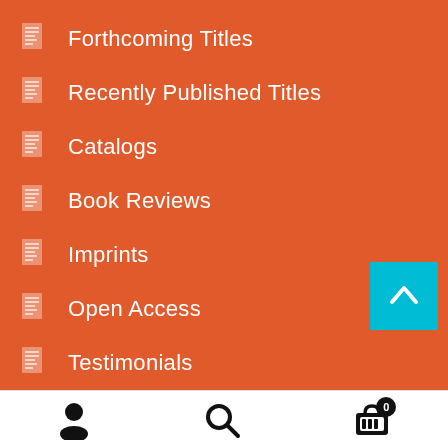Forthcoming Titles
Recently Published Titles
Catalogs
Book Reviews
Imprints
Open Access
Testimonials
Latest News
Frequently Asked Questions
Advertising Policy